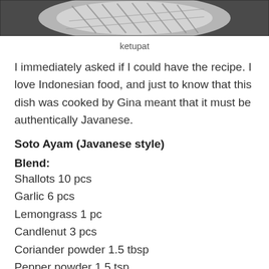[Figure (photo): Top portion of a photo showing ketupat (rice cake) on a plate/strainer, dark background]
ketupat
I immediately asked if I could have the recipe. I love Indonesian food, and just to know that this dish was cooked by Gina meant that it must be authentically Javanese.
Soto Ayam (Javanese style)
Blend:
Shallots 10 pcs
Garlic 6 pcs
Lemongrass 1 pc
Candlenut 3 pcs
Coriander powder 1.5 tbsp
Pepper powder 1.5 tsp